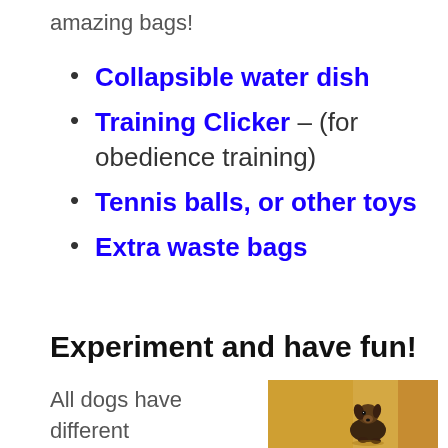amazing bags!
Collapsible water dish
Training Clicker – (for obedience training)
Tennis balls, or other toys
Extra waste bags
Experiment and have fun!
All dogs have different
[Figure (photo): A small dog sitting and looking to the side, warm yellow/amber background]